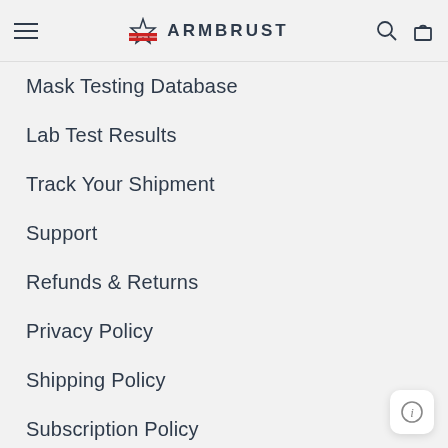ARMBRUST
Mask Testing Database
Lab Test Results
Track Your Shipment
Support
Refunds & Returns
Privacy Policy
Shipping Policy
Subscription Policy
Manage Subscriptions
Terms of Service